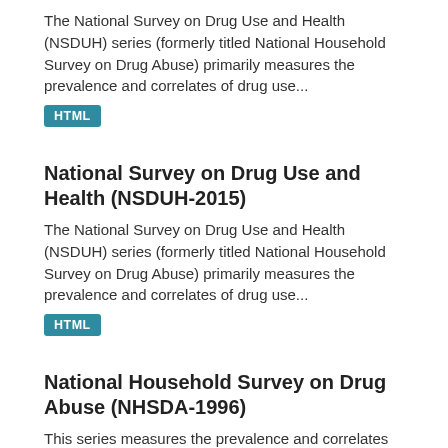The National Survey on Drug Use and Health (NSDUH) series (formerly titled National Household Survey on Drug Abuse) primarily measures the prevalence and correlates of drug use...
HTML
National Survey on Drug Use and Health (NSDUH-2015)
The National Survey on Drug Use and Health (NSDUH) series (formerly titled National Household Survey on Drug Abuse) primarily measures the prevalence and correlates of drug use...
HTML
National Household Survey on Drug Abuse (NHSDA-1996)
This series measures the prevalence and correlates of drug use in the United States. The surveys are designed to provide quarterly, as well as annual, estimates. Information is...